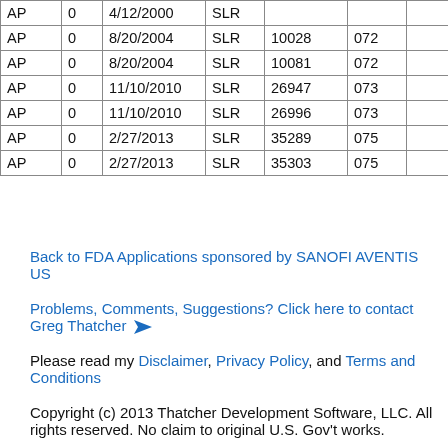| AP | 0 | 4/12/2000 | SLR |  |  |  |
| AP | 0 | 8/20/2004 | SLR | 10028 | 072 |  |
| AP | 0 | 8/20/2004 | SLR | 10081 | 072 |  |
| AP | 0 | 11/10/2010 | SLR | 26947 | 073 |  |
| AP | 0 | 11/10/2010 | SLR | 26996 | 073 |  |
| AP | 0 | 2/27/2013 | SLR | 35289 | 075 |  |
| AP | 0 | 2/27/2013 | SLR | 35303 | 075 |  |
Back to FDA Applications sponsored by SANOFI AVENTIS US
Problems, Comments, Suggestions? Click here to contact Greg Thatcher
Please read my Disclaimer, Privacy Policy, and Terms and Conditions
Copyright (c) 2013 Thatcher Development Software, LLC. All rights reserved. No claim to original U.S. Gov't works.